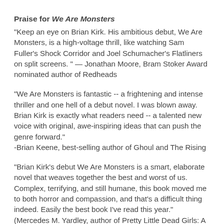Praise for We Are Monsters
"Keep an eye on Brian Kirk. His ambitious debut, We Are Monsters, is a high-voltage thrill, like watching Sam Fuller's Shock Corridor and Joel Schumacher's Flatliners on split screens. " — Jonathan Moore, Bram Stoker Award nominated author of Redheads
"We Are Monsters is fantastic -- a frightening and intense thriller and one hell of a debut novel. I was blown away. Brian Kirk is exactly what readers need -- a talented new voice with original, awe-inspiring ideas that can push the genre forward."
-Brian Keene, best-selling author of Ghoul and The Rising
"Brian Kirk's debut We Are Monsters is a smart, elaborate novel that weaves together the best and worst of us. Complex, terrifying, and still humane, this book moved me to both horror and compassion, and that's a difficult thing indeed. Easily the best book I've read this year." (Mercedes M. Yardley, author of Pretty Little Dead Girls: A Novel of Murder and Whimsy.)